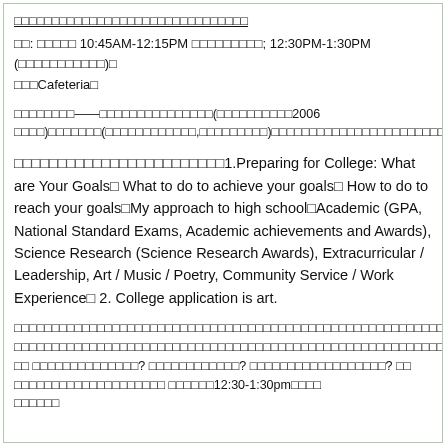[underlined CJK text header line]
日: 週間 10:45AM-12:15PM 日本語日本語日; 12:30PM-1:30PM (日本語日本語日)日
日本Cafeteria日
日本語日本語——日本語日本語日本語日本語(日本語日本語日本語2006 日本語)日本語日本語日(日本語日本語日本語日本語,日本語日本語日本語日本語)日本語日本語日本語日本語日本語日本語日本語日本語日本語日本語日本語日本語
日本語日本語日本語日本語日本語日本語日本語日本語日本語日本語1.Preparing for College: What are Your Goals。What to do to achieve your goals。How to do to reach your goals。My approach to high school。Academic (GPA, National Standard Exams, Academic achievements and Awards), Science Research (Science Research Awards), Extracurricular / Leadership, Art / Music / Poetry, Community Service / Work Experience。 2. College application is art.
日本語日本語日本語日本語日本語日本語日本語日本語日本語日本語日本語日本語日本語日本語日本語日本語日本語日本語日本語日本語日本語日本語日本語日本語日本語日本語日本語日本語日 日本語日本語日本語日本語日本語日本語? 日本語日本語日本語日本語日本語? 日本語日本語日本語日本語日本語日本語日本語日本語? 日日本語日本語日本語日本語日本語日本語日本語日本語日本語日本語 日本語日本語12:30-1:30pm日本語日本語日本語日本語日本語日